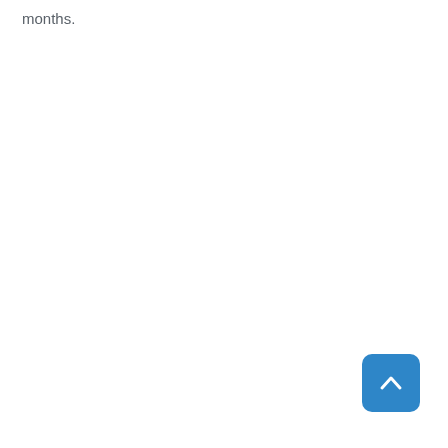months.
[Figure (other): Blue rounded-rectangle button with a white upward-pointing chevron arrow, used as a scroll-to-top navigation control]